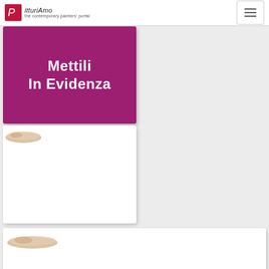PitturiAmo — the contemporary painters' portal
[Figure (screenshot): Navigation hamburger menu button in top right corner]
[Figure (illustration): Purple/magenta banner card with white handwritten-style text reading 'Mettili In Evidenza']
[Figure (illustration): White card with a small paintbrush thumbnail in top left corner — a painting listing card]
[Figure (illustration): White wide card with a small paintbrush thumbnail in top left corner — another painting listing card]